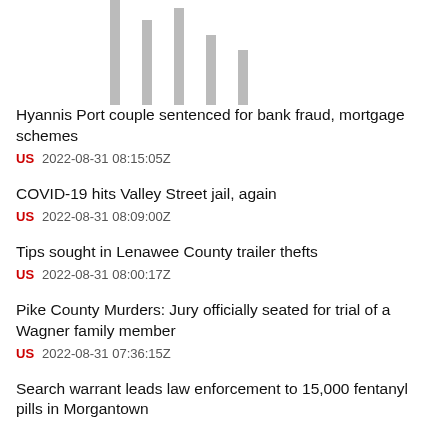[Figure (other): Partial bar chart visible at top of page, cropped, showing vertical gray bars on white background]
Hyannis Port couple sentenced for bank fraud, mortgage schemes
US  2022-08-31 08:15:05Z
COVID-19 hits Valley Street jail, again
US  2022-08-31 08:09:00Z
Tips sought in Lenawee County trailer thefts
US  2022-08-31 08:00:17Z
Pike County Murders: Jury officially seated for trial of a Wagner family member
US  2022-08-31 07:36:15Z
Search warrant leads law enforcement to 15,000 fentanyl pills in Morgantown